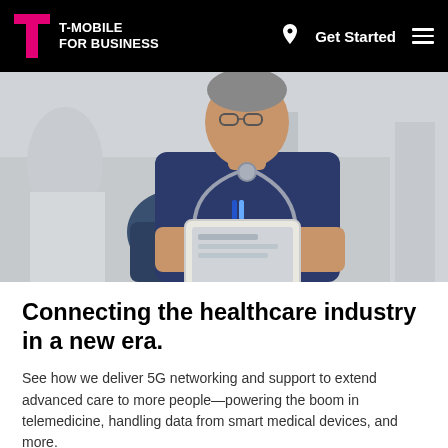T-MOBILE FOR BUSINESS | Get Started
[Figure (photo): A healthcare professional wearing blue scrubs and a stethoscope, looking down at a tablet device in a clinical setting.]
Connecting the healthcare industry in a new era.
See how we deliver 5G networking and support to extend advanced care to more people—powering the boom in telemedicine, handling data from smart medical devices, and more.